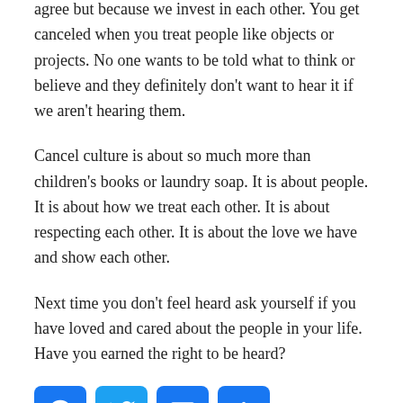agree but because we invest in each other. You get canceled when you treat people like objects or projects. No one wants to be told what to think or believe and they definitely don't want to hear it if we aren't hearing them.
Cancel culture is about so much more than children's books or laundry soap. It is about people. It is about how we treat each other. It is about respecting each other. It is about the love we have and show each other.
Next time you don't feel heard ask yourself if you have loved and cared about the people in your life. Have you earned the right to be heard?
[Figure (infographic): Social sharing buttons: Facebook (blue), Twitter (blue), Email (blue envelope), Plus/share (blue)]